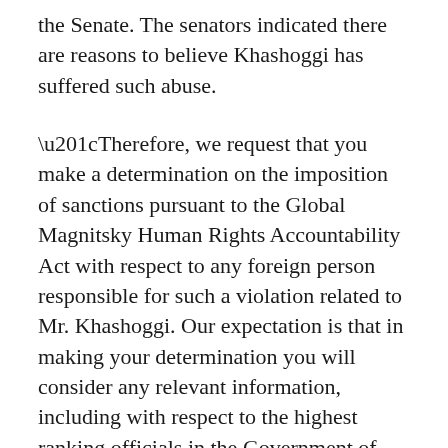the Senate. The senators indicated there are reasons to believe Khashoggi has suffered such abuse.
“Therefore, we request that you make a determination on the imposition of sanctions pursuant to the Global Magnitsky Human Rights Accountability Act with respect to any foreign person responsible for such a violation related to Mr. Khashoggi. Our expectation is that in making your determination you will consider any relevant information, including with respect to the highest ranking officials in the Government of Saudi Arabia,” the letter stated.
Corker told reporters on Wednesday he appreciates the reform agenda pursued by Saudi Crown Prince Mohammed bin Salman, who is commonly referred to by his initials “MBS,” but